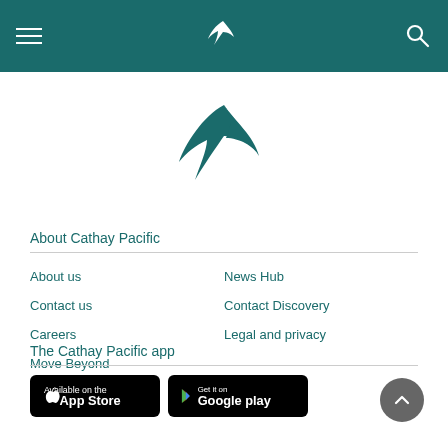Cathay Pacific navigation bar with hamburger menu, logo, and search icon
[Figure (logo): Cathay Pacific bird wing logo in teal color, large, centered on white background]
About Cathay Pacific
About us
News Hub
Contact us
Contact Discovery
Careers
Legal and privacy
Move Beyond
The Cathay Pacific app
[Figure (logo): Apple App Store badge - Available on the App Store]
[Figure (logo): Google Play badge - Get it on Google Play]